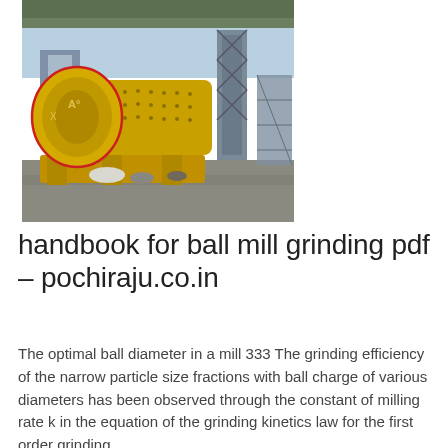[Figure (photo): Photograph of a large yellow ball mill grinding machine installed at an industrial facility. The mill has a large cylindrical drum with a rounded head on the left side, mounted on yellow supports. Industrial scaffolding and structures are visible in the background against a blue sky.]
handbook for ball mill grinding pdf - pochiraju.co.in
The optimal ball diameter in a mill 333 The grinding efficiency of the narrow particle size fractions with ball charge of various diameters has been observed through the constant of milling rate k in the equation of the grinding kinetics law for the first order grinding